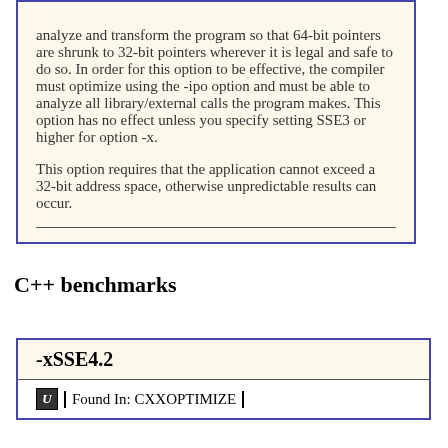analyze and transform the program so that 64-bit pointers are shrunk to 32-bit pointers wherever it is legal and safe to do so. In order for this option to be effective, the compiler must optimize using the -ipo option and must be able to analyze all library/external calls the program makes. This option has no effect unless you specify setting SSE3 or higher for option -x.

This option requires that the application cannot exceed a 32-bit address space, otherwise unpredictable results can occur.
C++ benchmarks
| -xSSE4.2 |
| --- |
| Found In: CXXOPTIMIZE |